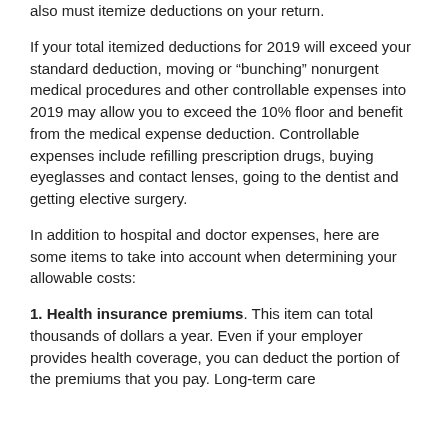also must itemize deductions on your return.
If your total itemized deductions for 2019 will exceed your standard deduction, moving or “bunching” nonurgent medical procedures and other controllable expenses into 2019 may allow you to exceed the 10% floor and benefit from the medical expense deduction. Controllable expenses include refilling prescription drugs, buying eyeglasses and contact lenses, going to the dentist and getting elective surgery.
In addition to hospital and doctor expenses, here are some items to take into account when determining your allowable costs:
1. Health insurance premiums. This item can total thousands of dollars a year. Even if your employer provides health coverage, you can deduct the portion of the premiums that you pay. Long-term care